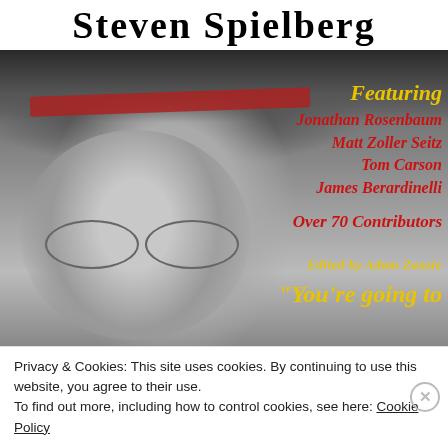Steven Spielberg
[Figure (photo): Black and white photograph of a young Steven Spielberg wearing a wide-brimmed hat with a red band and aviator glasses, with overlaid text featuring contributor names and book details]
Privacy & Cookies: This site uses cookies. By continuing to use this website, you agree to their use.
To find out more, including how to control cookies, see here: Cookie Policy
Close and accept